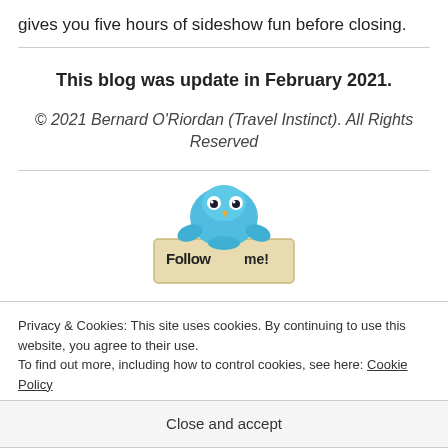gives you five hours of sideshow fun before closing.
This blog was update in February 2021.
© 2021 Bernard O'Riordan (Travel Instinct). All Rights Reserved
[Figure (illustration): Twitter bird mascot holding a 'Follow me!' sign]
Privacy & Cookies: This site uses cookies. By continuing to use this website, you agree to their use.
To find out more, including how to control cookies, see here: Cookie Policy
Close and accept